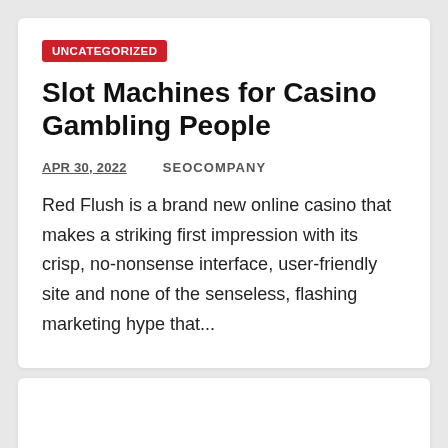UNCATEGORIZED
Slot Machines for Casino Gambling People
APR 30, 2022   SEOCOMPANY
Red Flush is a brand new online casino that makes a striking first impression with its crisp, no-nonsense interface, user-friendly site and none of the senseless, flashing marketing hype that...
UNCATEGORIZED